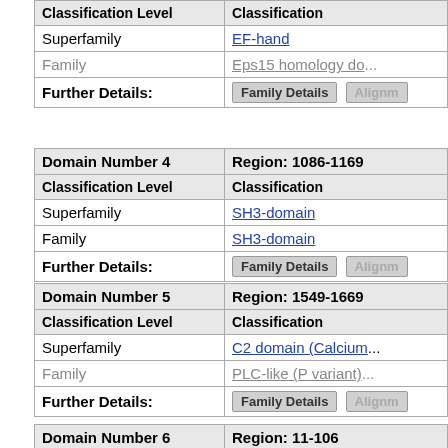| Classification Level | Classification |
| --- | --- |
| Superfamily | EF-hand |
| Family | Eps15 homology do... |
| Further Details: | Family Details  Alignm... |
| Domain Number 4 | Region: 1086-1169 |
| --- | --- |
| Classification Level | Classification |
| Superfamily | SH3-domain |
| Family | SH3-domain |
| Further Details: | Family Details  Alignm... |
| Domain Number 5 | Region: 1549-1669 |
| --- | --- |
| Classification Level | Classification |
| Superfamily | C2 domain (Calcium... |
| Family | PLC-like (P variant)... |
| Further Details: | Family Details  Alignm... |
| Domain Number 6 | Region: 11-106 |
| --- | --- |